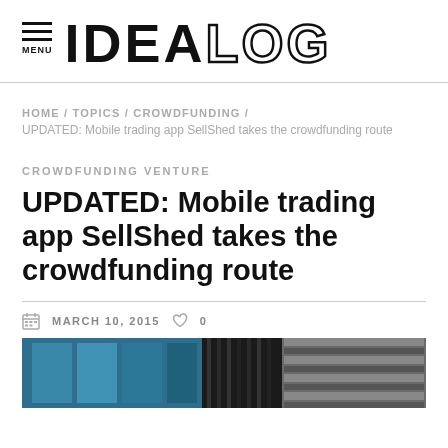IDEALOG
HOME / TOPICS / CROWDFUNDING /
UPDATED: Mobile trading app SellShed takes the crowdfunding route
CROWDFUNDING VENTURE
UPDATED: Mobile trading app SellShed takes the crowdfunding route
MARCH 10, 2015  0
[Figure (photo): Photo of an interior space showing glass panels and a ceiling with metal architectural elements]